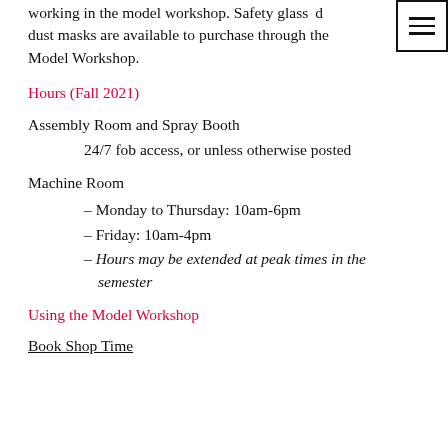encouraged to purchase and bring their own working in the model workshop. Safety glasses and dust masks are available to purchase through the Model Workshop.
Hours (Fall 2021)
Assembly Room and Spray Booth
24/7 fob access, or unless otherwise posted
Machine Room
– Monday to Thursday: 10am-6pm
– Friday: 10am-4pm
– Hours may be extended at peak times in the semester
Using the Model Workshop
Book Shop Time